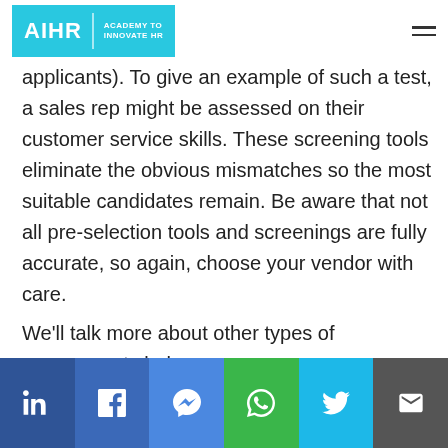AIHR | ACADEMY TO INNOVATE HR
applicants). To give an example of such a test, a sales rep might be assessed on their customer service skills. These screening tools eliminate the obvious mismatches so the most suitable candidates remain. Be aware that not all pre-selection tools and screenings are fully accurate, so again, choose your vendor with care.

We'll talk more about other types of assessments below.
LinkedIn | Facebook | Messenger | WhatsApp | Twitter | Email